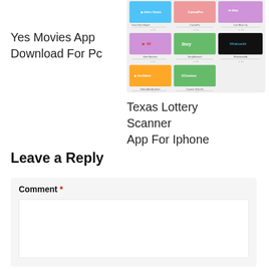Yes Movies App Download For Pc
[Figure (screenshot): Screenshot of app store or similar interface showing app tiles including Intro Outro Expert, CanvaPro, Live Mock Up, Slide Machine, StoryMonarch, WhiteboardAr, Video Ads Architect, Custom Video Fx]
Texas Lottery Scanner App For Iphone
Leave a Reply
Comment *